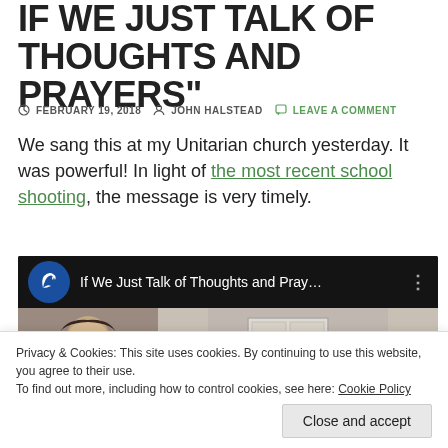IF WE JUST TALK OF THOUGHTS AND PRAYERS"
FEBRUARY 19, 2018   JOHN HALSTEAD   LEAVE A COMMENT
We sang this at my Unitarian church yesterday. It was powerful! In light of the most recent school shooting, the message is very timely.
[Figure (screenshot): YouTube video embed showing a video titled 'If We Just Talk of Thoughts and Pray...' with a blue circle logo featuring a white dove, and a thumbnail showing a person singing in a room]
Privacy & Cookies: This site uses cookies. By continuing to use this website, you agree to their use.
To find out more, including how to control cookies, see here: Cookie Policy